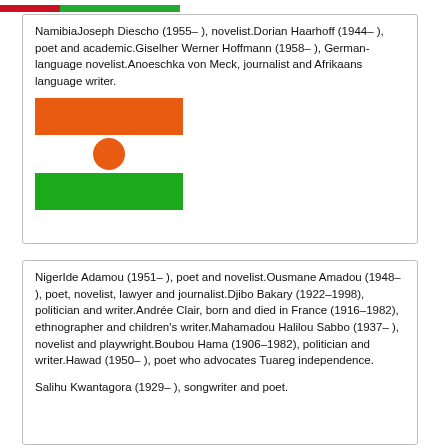[Figure (illustration): Top colored bar (red/green flag strip) at top of page]
NamibiaJoseph Diescho (1955– ), novelist.Dorian Haarhoff (1944– ), poet and academic.Giselher Werner Hoffmann (1958– ), German-language novelist.Anoeschka von Meck, journalist and Afrikaans language writer.
[Figure (illustration): Flag of Niger: orange horizontal stripe, white stripe with orange circle, green horizontal stripe]
NigerIde Adamou (1951– ), poet and novelist.Ousmane Amadou (1948– ), poet, novelist, lawyer and journalist.Djibo Bakary (1922–1998), politician and writer.Andrée Clair, born and died in France (1916–1982), ethnographer and children's writer.Mahamadou Halilou Sabbo (1937– ), novelist and playwright.Boubou Hama (1906–1982), politician and writer.Hawad (1950– ), poet who advocates Tuareg independence.
Salihu Kwantagora (1929– ), songwriter and poet.